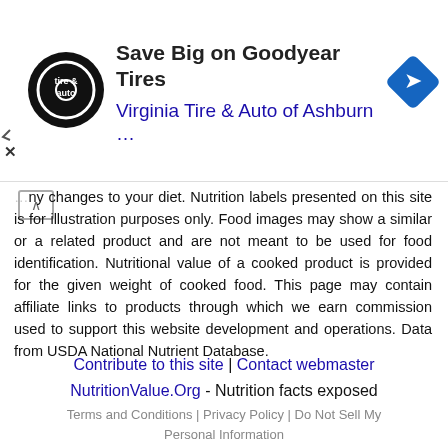[Figure (advertisement): Ad banner for Virginia Tire & Auto of Ashburn featuring Goodyear Tires save big promotion with logo and navigation icon]
...ny changes to your diet. Nutrition labels presented on this site is for illustration purposes only. Food images may show a similar or a related product and are not meant to be used for food identification. Nutritional value of a cooked product is provided for the given weight of cooked food. This page may contain affiliate links to products through which we earn commission used to support this website development and operations. Data from USDA National Nutrient Database.
Contribute to this site | Contact webmaster
NutritionValue.Org - Nutrition facts exposed
Terms and Conditions | Privacy Policy | Do Not Sell My Personal Information
⬤ Get started now